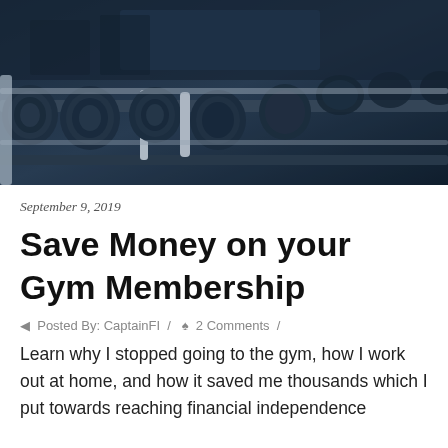[Figure (photo): Close-up photo of a rack of dumbbells in a gym, dark blue-tinted image showing multiple sets of weights on a rack]
September 9, 2019
Save Money on your Gym Membership
Posted By: CaptainFI  /  2 Comments  /
Learn why I stopped going to the gym, how I work out at home, and how it saved me thousands which I put towards reaching financial independence